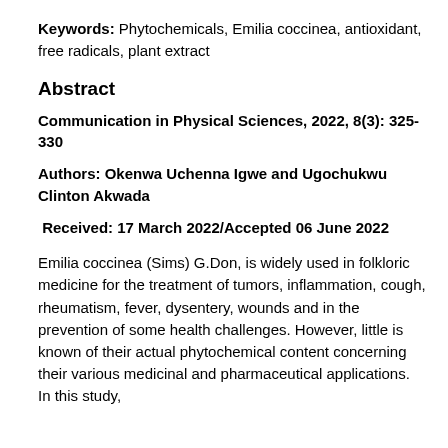Keywords: Phytochemicals, Emilia coccinea, antioxidant, free radicals, plant extract
Abstract
Communication in Physical Sciences, 2022, 8(3): 325-330
Authors: Okenwa Uchenna Igwe and Ugochukwu Clinton Akwada
Received: 17 March 2022/Accepted 06 June 2022
Emilia coccinea (Sims) G.Don, is widely used in folkloric medicine for the treatment of tumors, inflammation, cough, rheumatism, fever, dysentery, wounds and in the prevention of some health challenges. However, little is known of their actual phytochemical content concerning their various medicinal and pharmaceutical applications. In this study,